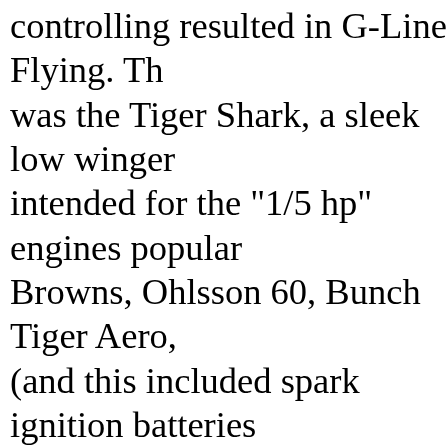controlling resulted in G-Line Flying. Th was the Tiger Shark, a sleek low winger intended for the "1/5 hp" engines popular Browns, Ohlsson 60, Bunch Tiger Aero, (and this included spark ignition batteries 1-3/4 lb. The Tiger Shark was followed by the 24' most popular G-Line model. It was desig and other small engines of the period. Fo flier held a stick or pole several feet long single line running to the plane. This line